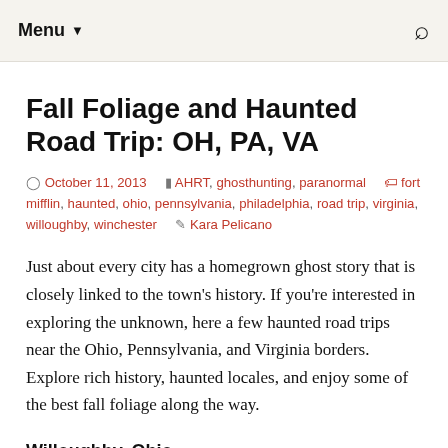Menu ▼  🔍
Fall Foliage and Haunted Road Trip: OH, PA, VA
October 11, 2013  AHRT, ghosthunting, paranormal  fort mifflin, haunted, ohio, pennsylvania, philadelphia, road trip, virginia, willoughby, winchester  Kara Pelicano
Just about every city has a homegrown ghost story that is closely linked to the town's history. If you're interested in exploring the unknown, here a few haunted road trips near the Ohio, Pennsylvania, and Virginia borders. Explore rich history, haunted locales, and enjoy some of the best fall foliage along the way.
Willoughby, Ohio
The Willoughby ghost walk is a guided tour through the